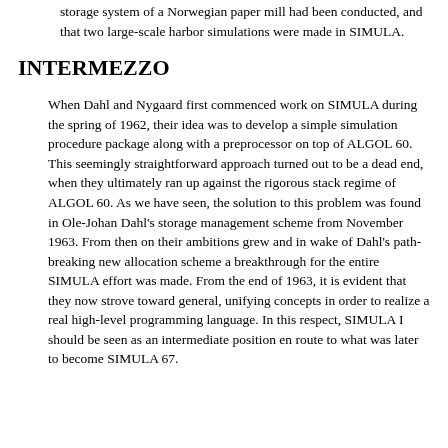storage system of a Norwegian paper mill had been conducted, and that two large-scale harbor simulations were made in SIMULA.
INTERMEZZO
When Dahl and Nygaard first commenced work on SIMULA during the spring of 1962, their idea was to develop a simple simulation procedure package along with a preprocessor on top of ALGOL 60. This seemingly straightforward approach turned out to be a dead end, when they ultimately ran up against the rigorous stack regime of ALGOL 60. As we have seen, the solution to this problem was found in Ole-Johan Dahl's storage management scheme from November 1963. From then on their ambitions grew and in wake of Dahl's path-breaking new allocation scheme a breakthrough for the entire SIMULA effort was made. From the end of 1963, it is evident that they now strove toward general, unifying concepts in order to realize a real high-level programming language. In this respect, SIMULA I should be seen as an intermediate position en route to what was later to become SIMULA 67.